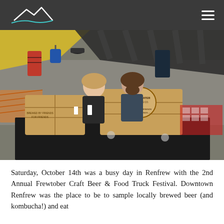Whitewater Brewing Co. logo and navigation
[Figure (photo): Two people smiling behind a wooden booth/table at an outdoor festival. The booth has a wooden crate branded 'Whitewater Brewing Co. — Brewed by Friends for Friends'. In the background are tents, merchandise hanging (shirts, hats, bags), and festival crowd. Orange safety fencing visible on the left.]
Saturday, October 14th was a busy day in Renfrew with the 2nd Annual Frewtober Craft Beer & Food Truck Festival. Downtown Renfrew was the place to be to sample locally brewed beer (and kombucha!) and eat